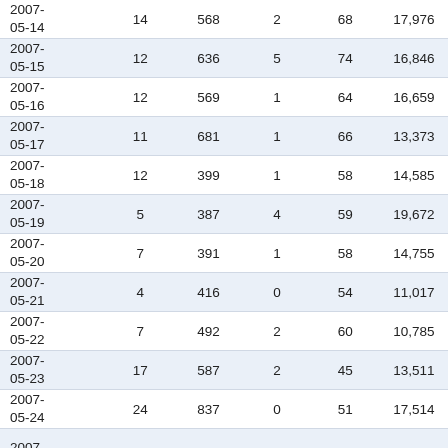| Date | Col1 | Col2 | Col3 | Col4 | Col5 |
| --- | --- | --- | --- | --- | --- |
| 2007-05-14 | 14 | 568 | 2 | 68 | 17,976 |
| 2007-05-15 | 12 | 636 | 5 | 74 | 16,846 |
| 2007-05-16 | 12 | 569 | 1 | 64 | 16,659 |
| 2007-05-17 | 11 | 681 | 1 | 66 | 13,373 |
| 2007-05-18 | 12 | 399 | 1 | 58 | 14,585 |
| 2007-05-19 | 5 | 387 | 4 | 59 | 19,672 |
| 2007-05-20 | 7 | 391 | 1 | 58 | 14,755 |
| 2007-05-21 | 4 | 416 | 0 | 54 | 11,017 |
| 2007-05-22 | 7 | 492 | 2 | 60 | 10,785 |
| 2007-05-23 | 17 | 587 | 2 | 45 | 13,511 |
| 2007-05-24 | 24 | 837 | 0 | 51 | 17,514 |
| 2007-05-... |  |  |  |  |  |